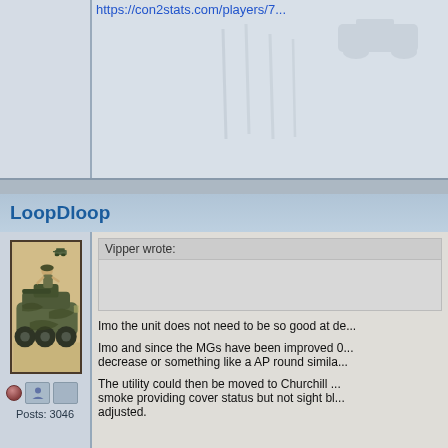https://con2stats.com/players/7...
[Figure (illustration): Watermark/background image of soldiers and military vehicles, faint gray]
LoopDloop
[Figure (illustration): Forum avatar showing a military armored vehicle (APC/scout car) with a soldier on top, in a sketched/illustrated style, against a tan background]
Posts: 3046
Vipper wrote:
Imo the unit does not need to be so good at de...
Imo and since the MGs have been improved 0... decrease or something like a AP round simila...
The utility could then be moved to Churchill ... smoke providing cover status but not sight bl... adjusted.